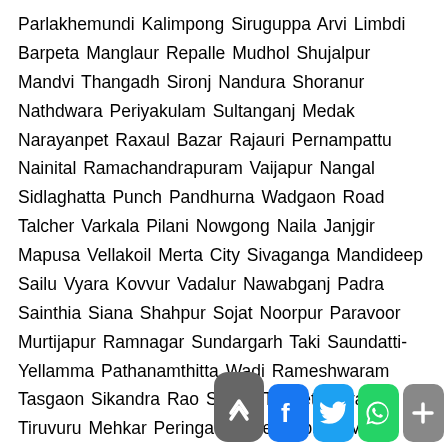Parlakhemundi Kalimpong Siruguppa Arvi Limbdi Barpeta Manglaur Repalle Mudhol Shujalpur Mandvi Thangadh Sironj Nandura Shoranur Nathdwara Periyakulam Sultanganj Medak Narayanpet Raxaul Bazar Rajauri Pernampattu Nainital Ramachandrapuram Vaijapur Nangal Sidlaghatta Punch Pandhurna Wadgaon Road Talcher Varkala Pilani Nowgong Naila Janjgir Mapusa Vellakoil Merta City Sivaganga Mandideep Sailu Vyara Kovvur Vadalur Nawabganj Padra Sainthia Siana Shahpur Sojat Noorpur Paravoor Murtijapur Ramnagar Sundargarh Taki Saundatti-Yellamma Pathanamthitta Wadi Rameshwaram Tasgaon Sikandra Rao Sihora Tiruvethipuram Tiruvuru Mehkar Peringathur Perambalur Manvi Zunheboto Mahnar Bazar Attingal Shahbad Puranpur Nelamangala Nakodar Lunawada Murshidabad Mahe Lanka Rudauli Tuensang Lakshmeshwar Zira Yawal Thana Bhawan Ramdurg Pu... Sadasivpet Nargund Neem-Ka-Thana Me... Ni...a